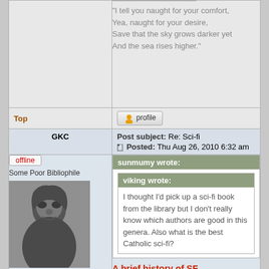"I tell you naught for your comfort, Yea, naught for your desire, Save that the sky grows darker yet And the sea rises higher."
Top
[Figure (other): Profile button with user icon]
GKC
Post subject: Re: Sci-fi  Posted: Thu Aug 26, 2010 6:32 am
offline
Some Poor Bibliophile
[Figure (photo): Black and white portrait photo of a man]
Joined: Thu Feb 20, 2003 10:22 pm
Posts: 20002
sunmumy wrote:
viking wrote:
I thought I'd pick up a sci-fi book from the library but I don't really know which authors are good in this genera. Also what is the best Catholic sci-fi?
A brief history of SF